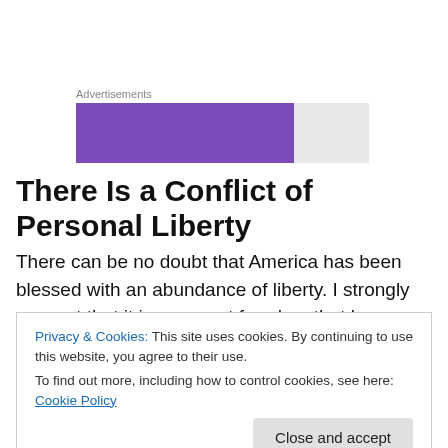[Figure (other): Advertisement banner with purple and gray sections]
There Is a Conflict of Personal Liberty
There can be no doubt that America has been blessed with an abundance of liberty. I strongly suspect that it is our great freedom that has caused terrorist fanatics around the world to hate us so strongly. And yet, as
Privacy & Cookies: This site uses cookies. By continuing to use this website, you agree to their use.
To find out more, including how to control cookies, see here: Cookie Policy
Close and accept
enjoy the rights of freedom of speech, ownership of